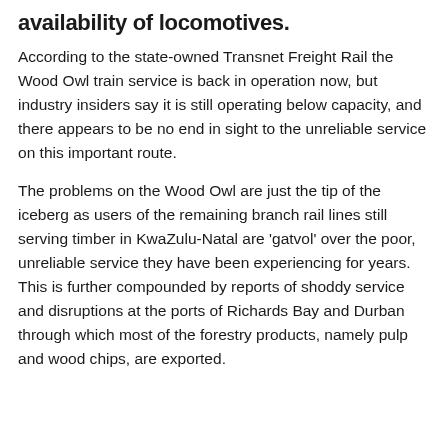availability of locomotives.
According to the state-owned Transnet Freight Rail the Wood Owl train service is back in operation now, but industry insiders say it is still operating below capacity, and there appears to be no end in sight to the unreliable service on this important route.
The problems on the Wood Owl are just the tip of the iceberg as users of the remaining branch rail lines still serving timber in KwaZulu-Natal are 'gatvol' over the poor, unreliable service they have been experiencing for years. This is further compounded by reports of shoddy service and disruptions at the ports of Richards Bay and Durban through which most of the forestry products, namely pulp and wood chips, are exported.